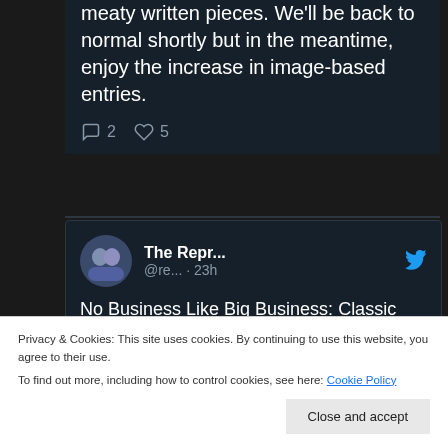meaty written pieces. We'll be back to normal shortly but in the meantime, enjoy the increase in image-based entries.
2  5
The Repr... @re... · 23h
No Business Like Big Business: Classic Motion Picture Trade Ads. reprobatepress.com/2022/0 8/28/no...
Privacy & Cookies: This site uses cookies. By continuing to use this website, you agree to their use.
To find out more, including how to control cookies, see here: Cookie Policy
Close and accept